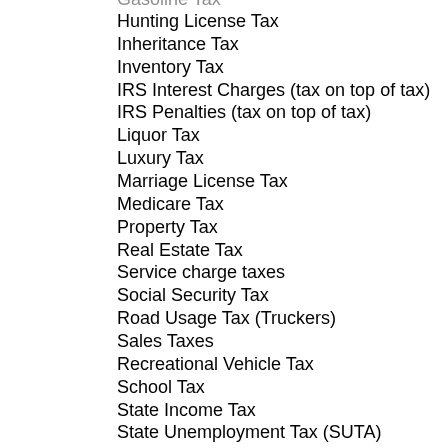Gasoline Tax
Hunting License Tax
Inheritance Tax
Inventory Tax
IRS Interest Charges (tax on top of tax)
IRS Penalties (tax on top of tax)
Liquor Tax
Luxury Tax
Marriage License Tax
Medicare Tax
Property Tax
Real Estate Tax
Service charge taxes
Social Security Tax
Road Usage Tax (Truckers)
Sales Taxes
Recreational Vehicle Tax
School Tax
State Income Tax
State Unemployment Tax (SUTA)
Telephone Federal Excise Tax
Telephone FederalUniversal Service FeeTax
Telephone Federal, State and Local Surcharge